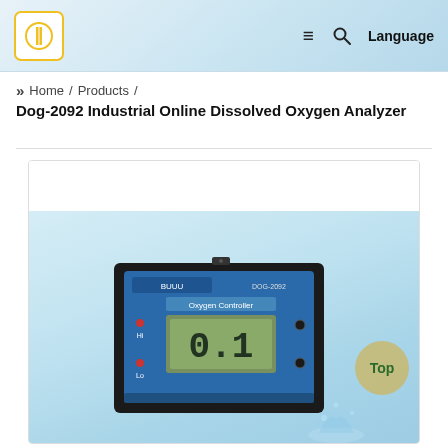Logo | Menu | Search | Language
» Home / Products / Dog-2092 Industrial Online Dissolved Oxygen Analyzer
[Figure (photo): DOG-2092 Oxygen Controller device with blue front panel, LCD display showing 0.1, HI and LO indicator lights, mounted in a black housing. Product is displayed on a light blue gradient background.]